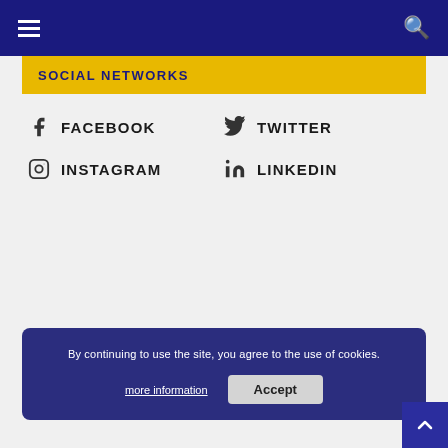SOCIAL NETWORKS
FACEBOOK
TWITTER
INSTAGRAM
LINKEDIN
By continuing to use the site, you agree to the use of cookies. more information | Accept